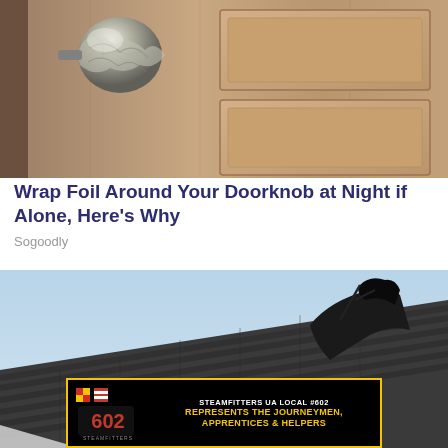[Figure (photo): Close-up photo of a door with a crystal/glass doorknob wrapped in aluminum foil, against a tan/beige paneled door]
Wrap Foil Around Your Doorknob at Night if Alone, Here's Why
Sogoodly
[Figure (photo): Photo of a rooftop with dark shingles against a light blue sky, showing damaged or blown-off roofing material]
[Figure (other): Advertisement banner for Steamfitters UA Local #602 - black background with yellow border, logo on left, text: STEAMFITTERS UA LOCAL #602 REPRESENTS THE JOURNEYMEN, APPRENTICES & HELPERS]